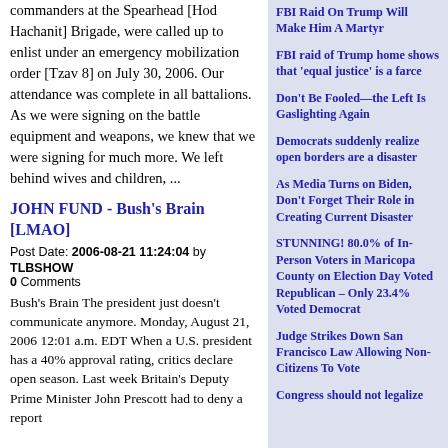commanders at the Spearhead [Hod Hachanit] Brigade, were called up to enlist under an emergency mobilization order [Tzav 8] on July 30, 2006. Our attendance was complete in all battalions. As we were signing on the battle equipment and weapons, we knew that we were signing for much more. We left behind wives and children, ...
JOHN FUND - Bush's Brain [LMAO]
Post Date: 2006-08-21 11:24:04 by TLBSHOW
0 Comments
Bush's Brain The president just doesn't communicate anymore. Monday, August 21, 2006 12:01 a.m. EDT When a U.S. president has a 40% approval rating, critics declare open season. Last week Britain's Deputy Prime Minister John Prescott had to deny a report
FBI Raid On Trump Will Make Him A Martyr
FBI raid of Trump home shows that 'equal justice' is a farce
Don't Be Fooled—the Left Is Gaslighting Again
Democrats suddenly realize open borders are a disaster
As Media Turns on Biden, Don't Forget Their Role in Creating Current Disaster
STUNNING! 80.0% of In-Person Voters in Maricopa County on Election Day Voted Republican – Only 23.4% Voted Democrat
Judge Strikes Down San Francisco Law Allowing Non-Citizens To Vote
Congress should not legalize